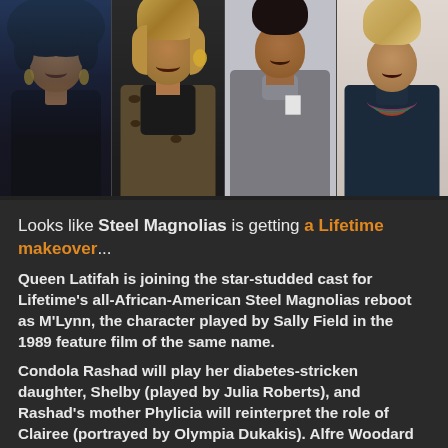[Figure (photo): A horizontal strip of four photos showing four women, likely celebrities. Left to right: a woman with curly hair and hoop earrings in a black outfit; a woman with highlighted bob hair in a leopard-print top; a woman in a grey turtleneck/cowl neck top; a woman in a dark turtleneck with colorful beaded necklace.]
Looks like Steel Magnolias is getting a Lifetime makeover...
Queen Latifah is joining the star-studded cast for Lifetime's all-African-American Steel Magnolias reboot as M'Lynn, the character played by Sally Field in the 1989 feature film of the same name.
Condola Rashad will play her diabetes-stricken daughter, Shelby (played by Julia Roberts), and Rashad's mother Phylicia will reinterpret the role of Clairee (portrayed by Olympia Dukakis). Alfre Woodard will tackle the irascible Ouiser, who was unforgettably played by Shirley MacLaine, Jill Scott looks to fill Dolly Parton's shoes as understanding hairdresser Truvy, and Deidre Henry as Annelle. Sala will also be...